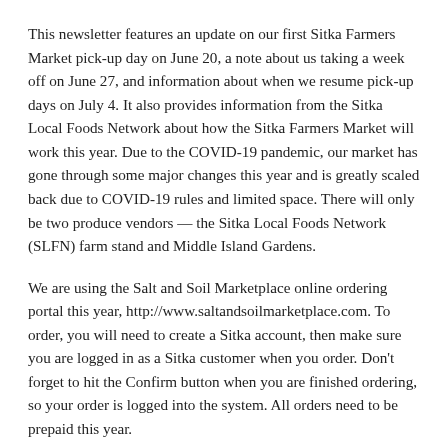This newsletter features an update on our first Sitka Farmers Market pick-up day on June 20, a note about us taking a week off on June 27, and information about when we resume pick-up days on July 4. It also provides information from the Sitka Local Foods Network about how the Sitka Farmers Market will work this year. Due to the COVID-19 pandemic, our market has gone through some major changes this year and is greatly scaled back due to COVID-19 rules and limited space. There will only be two produce vendors — the Sitka Local Foods Network (SLFN) farm stand and Middle Island Gardens.
We are using the Salt and Soil Marketplace online ordering portal this year, http://www.saltandsoilmarketplace.com. To order, you will need to create a Sitka account, then make sure you are logged in as a Sitka customer when you order. Don't forget to hit the Confirm button when you are finished ordering, so your order is logged into the system. All orders need to be prepaid this year.